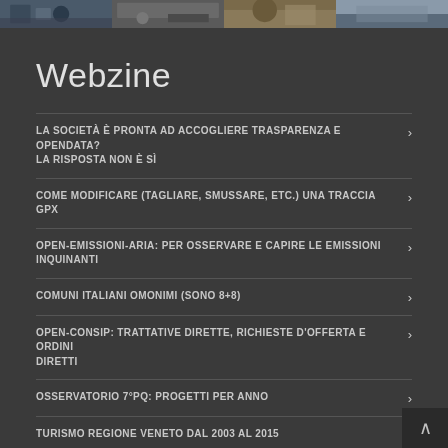[Figure (photo): Four small thumbnail photos in a horizontal strip at top of page]
Webzine
LA SOCIETÀ È PRONTA AD ACCOGLIERE TRASPARENZA E OPENDATA? LA RISPOSTA NON È SÌ
COME MODIFICARE (TAGLIARE, SMUSSARE, ETC.) UNA TRACCIA GPX
OPEN-EMISSIONI-ARIA: PER OSSERVARE E CAPIRE LE EMISSIONI INQUINANTI
COMUNI ITALIANI OMONIMI (SONO 8+8)
OPEN-CONSIP: TRATTATIVE DIRETTE, RICHIESTE D'OFFERTA E ORDINI DIRETTI
OSSERVATORIO 7°PQ: PROGETTI PER ANNO
TURISMO REGIONE VENETO DAL 2003 AL 2015